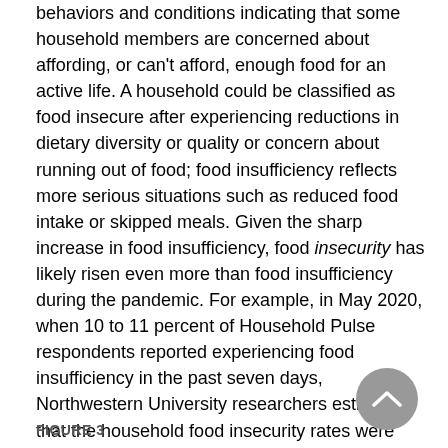behaviors and conditions indicating that some household members are concerned about affording, or can't afford, enough food for an active life. A household could be classified as food insecure after experiencing reductions in dietary diversity or quality or concern about running out of food; food insufficiency reflects more serious situations such as reduced food intake or skipped meals. Given the sharp increase in food insufficiency, food insecurity has likely risen even more than food insufficiency during the pandemic. For example, in May 2020, when 10 to 11 percent of Household Pulse respondents reported experiencing food insufficiency in the past seven days, Northwestern University researchers estimated that the household food insecurity rates were about 22 to 23 percent, roughly double the share of households that reported experiencing food insecurity at any point of 2019. [13]
FIGURE 3